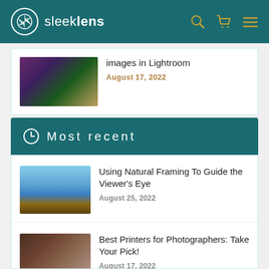sleeklens
images in Lightroom
August 17, 2022
Most recent
Using Natural Framing To Guide the Viewer's Eye
August 25, 2022
Best Printers for Photographers: Take Your Pick!
August 17, 2022